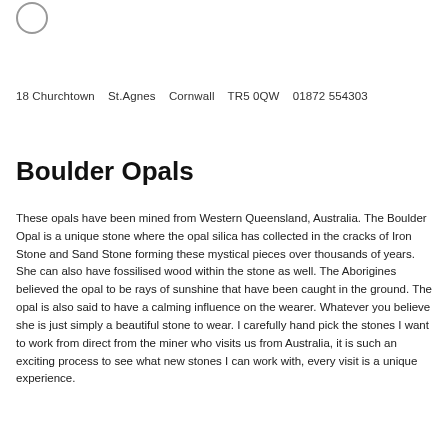[Figure (logo): Small circular logo outline in top left corner]
18 Churchtown    St.Agnes    Cornwall    TR5 0QW    01872 554303
Boulder Opals
These opals have been mined from Western Queensland, Australia. The Boulder Opal is a unique stone where the opal silica has collected in the cracks of Iron Stone and Sand Stone forming these mystical pieces over thousands of years. She can also have fossilised wood within the stone as well. The Aborigines believed the opal to be rays of sunshine that have been caught in the ground. The opal is also said to have a calming influence on the wearer. Whatever you believe she is just simply a beautiful stone to wear. I carefully hand pick the stones I want to work from direct from the miner who visits us from Australia, it is such an exciting process to see what new stones I can work with, every visit is a unique experience.